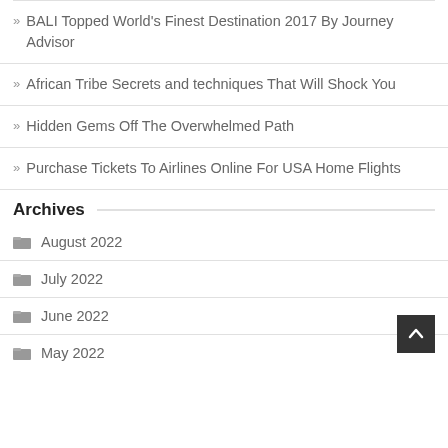BALI Topped World's Finest Destination 2017 By Journey Advisor
African Tribe Secrets and techniques That Will Shock You
Hidden Gems Off The Overwhelmed Path
Purchase Tickets To Airlines Online For USA Home Flights
Archives
August 2022
July 2022
June 2022
May 2022